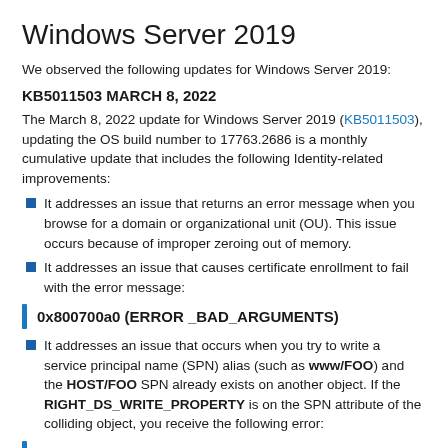Windows Server 2019
We observed the following updates for Windows Server 2019:
KB5011503 MARCH 8, 2022
The March 8, 2022 update for Windows Server 2019 (KB5011503), updating the OS build number to 17763.2686 is a monthly cumulative update that includes the following Identity-related improvements:
It addresses an issue that returns an error message when you browse for a domain or organizational unit (OU). This issue occurs because of improper zeroing out of memory.
It addresses an issue that causes certificate enrollment to fail with the error message:
0x800700a0 (ERROR _BAD_ARGUMENTS)
It addresses an issue that occurs when you try to write a service principal name (SPN) alias (such as www/FOO) and the HOST/FOO SPN already exists on another object. If the RIGHT_DS_WRITE_PROPERTY is on the SPN attribute of the colliding object, you receive the following error:
Access Denied